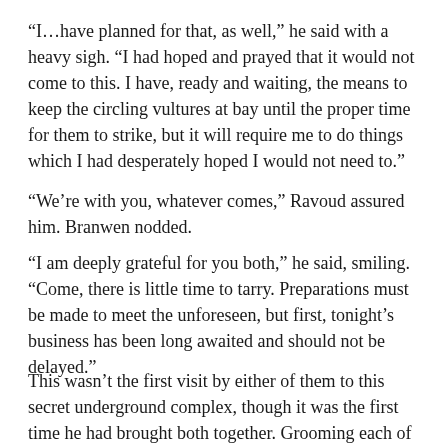“I…have planned for that, as well,” he said with a heavy sigh. “I had hoped and prayed that it would not come to this. I have, ready and waiting, the means to keep the circling vultures at bay until the proper time for them to strike, but it will require me to do things which I had desperately hoped I would not need to.”
“We’re with you, whatever comes,” Ravoud assured him. Branwen nodded.
“I am deeply grateful for you both,” he said, smiling. “Come, there is little time to tarry. Preparations must be made to meet the unforeseen, but first, tonight’s business has been long awaited and should not be delayed.”
This wasn’t the first visit by either of them to this secret underground complex, though it was the first time he had brought both together. Grooming each of them to a state…